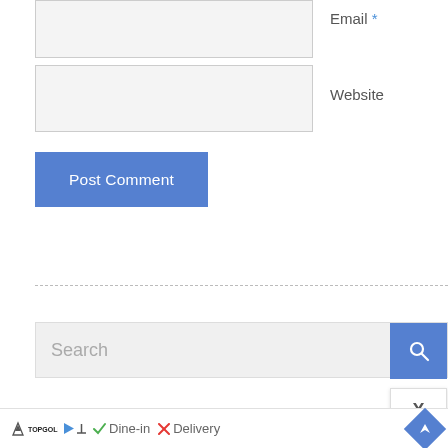Email *
[Figure (screenshot): Email input field (light gray rectangle)]
Website
[Figure (screenshot): Website input field (light gray rectangle)]
[Figure (screenshot): Post Comment button (blue rectangle with white text)]
[Figure (screenshot): Horizontal dashed separator line]
[Figure (screenshot): Search input bar with magnifying glass icon button]
[Figure (screenshot): X close popup button]
[Figure (screenshot): Advertisement bar: Topgolf logo, Dine-in checkmark, Delivery X, navigation arrow icon]